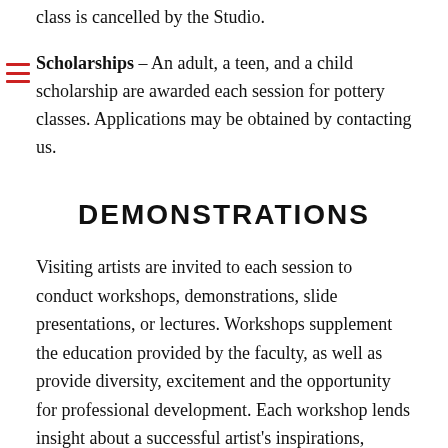class is cancelled by the Studio.
Scholarships – An adult, a teen, and a child scholarship are awarded each session for pottery classes. Applications may be obtained by contacting us.
DEMONSTRATIONS
Visiting artists are invited to each session to conduct workshops, demonstrations, slide presentations, or lectures. Workshops supplement the education provided by the faculty, as well as provide diversity, excitement and the opportunity for professional development. Each workshop lends insight about a successful artist's inspirations, techniques and creative processes.
See the Calendar of Events for current schedule of demonstrations.